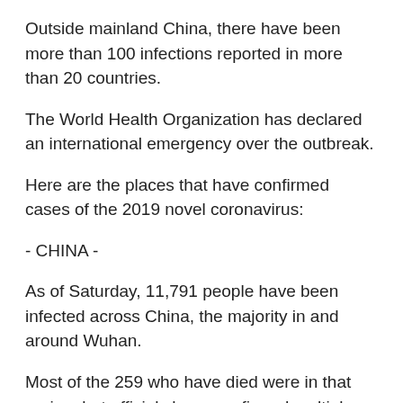Outside mainland China, there have been more than 100 infections reported in more than 20 countries.
The World Health Organization has declared an international emergency over the outbreak.
Here are the places that have confirmed cases of the 2019 novel coronavirus:
- CHINA -
As of Saturday, 11,791 people have been infected across China, the majority in and around Wuhan.
Most of the 259 who have died were in that region, but officials have confirmed multiple deaths elsewhere, including in the capital Beijing.
- ASIA-PACIFIC REGION -